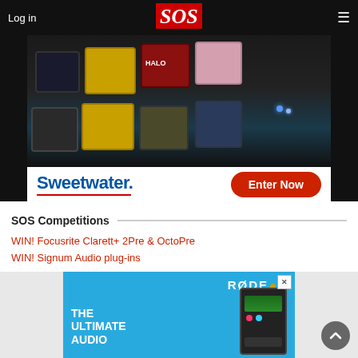Log in | SOS | (menu)
[Figure (photo): Sweetwater advertisement showing guitar pedals on a pedalboard with Sweetwater logo and 'Enter Now' button]
SOS Competitions
WIN! Focusrite Clarett+ 2Pre & OctoPre
WIN! Signum Audio plug-ins
[Figure (photo): RØDE advertisement showing audio interface with text 'THE ULTIMATE AUDIO']